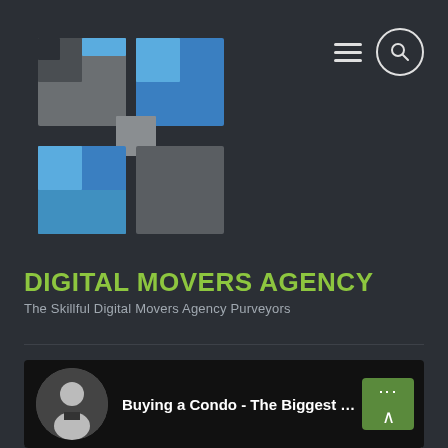[Figure (logo): Digital Movers Agency logo — interlocking square tiles in blue, gray, and steel tones forming an abstract grid/cube pattern on dark background]
[Figure (infographic): Navigation icons: hamburger menu (three horizontal lines) and search (magnifying glass in circle), top right of header]
DIGITAL MOVERS AGENCY
The Skillful Digital Movers Agency Purveyors
arisen which range between insignificant troubles with all the device itself to key waterproofing and structural failures from the structures that can demand very expensive reconstruction for which no funding was provided because of the converter.
[Figure (screenshot): Embedded YouTube-style video thumbnail showing a man in a suit with text 'Buying a Condo - The Biggest MIST...' and a green button with upward chevron and three-dot menu icon on the right]